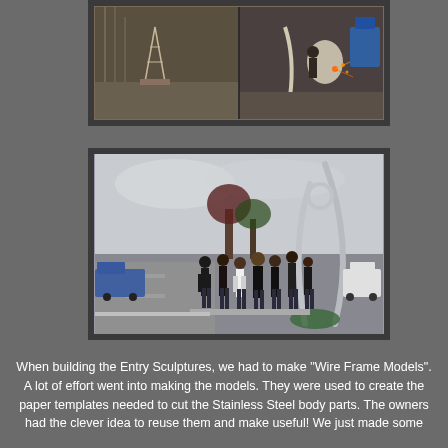[Figure (photo): Two workshop photos side by side: left shows wire frame metal sculpture models on stands in a workshop/warehouse setting; right shows welding work in progress with sparks flying.]
[Figure (photo): Group photo of approximately 7 people standing on a roadside next to a large completed stainless steel entry sculpture with curved arch forms. Overcast sky, trees, and road with vehicles visible in background.]
When building the Entry Sculptures, we had to make "Wire Frame Models". A lot of effort went into making the models. They were used to create the paper templates needed to cut the Stainless Steel body parts. The owners had the clever idea to reuse them and make useful! We just made some